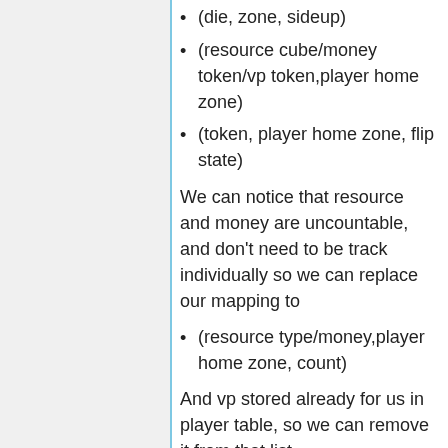(die, zone, sideup)
(resource cube/money token/vp token,player home zone)
(token, player home zone, flip state)
We can notice that resource and money are uncountable, and don't need to be track individually so we can replace our mapping to
(resource type/money,player home zone, count)
And vp stored already for us in player table, so we can remove it from that list.
Now when we get to encode it we can see that everything can be encoded as (object,zone,state) form, where object and zone is string and state is integer. The resource mapping is slightly different semantically so you can go with two table, or counting using same table with